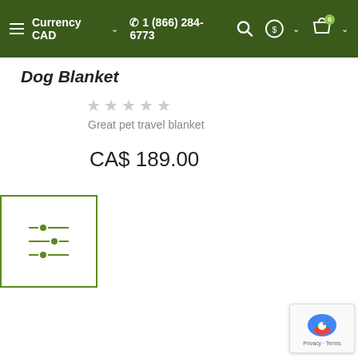≡ Currency CAD ∨  📞 1 (866) 284-6773  🔍  $ ∨  🛍 0 ∨
Dog Blanket
★★★★★ Great pet travel blanket
CA$ 189.00
[Figure (other): Filter/settings icon in a green-bordered box]
[Figure (logo): reCAPTCHA badge with Privacy - Terms text]